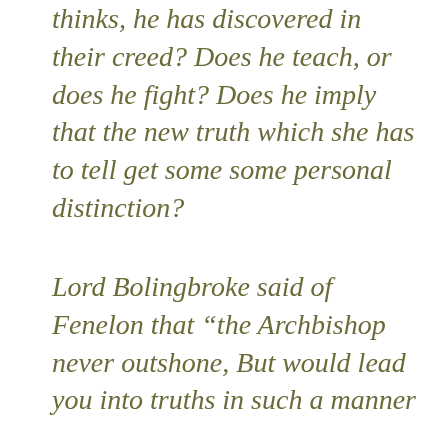thinks, he has discovered in their creed? Does he teach, or does he fight? Does he imply that the new truth which she has to tell get some some personal distinction?
Lord Bolingbroke said of Fenelon that “the Archbishop never outshone, But would lead you into truths in such a manner